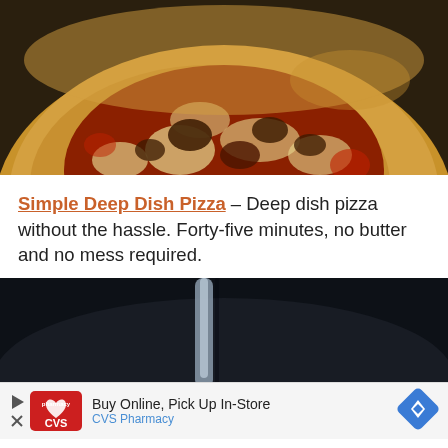[Figure (photo): Close-up photo of a deep dish pizza in a dark cast iron pan, showing golden-brown crust, melted cheese, red sauce, and dark toppings.]
Simple Deep Dish Pizza – Deep dish pizza without the hassle. Forty-five minutes, no butter and no mess required.
[Figure (photo): Dark background photo showing what appears to be a dark pan or pot with a metallic utensil, partially visible.]
[Figure (other): CVS Pharmacy advertisement banner: 'Buy Online, Pick Up In-Store' with CVS Pharmacy logo and a blue diamond navigation icon.]